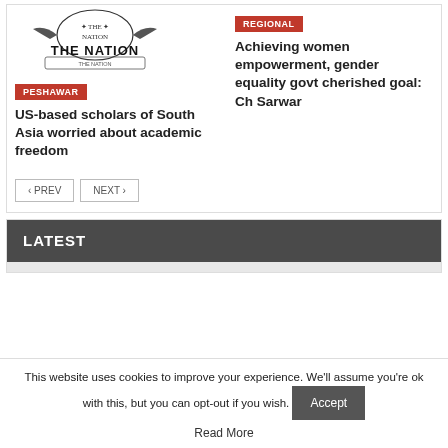[Figure (logo): The Nation newspaper logo with crest and text THE NATION]
PESHAWAR
US-based scholars of South Asia worried about academic freedom
REGIONAL
Achieving women empowerment, gender equality govt cherished goal: Ch Sarwar
< PREV
NEXT >
LATEST
This website uses cookies to improve your experience. We'll assume you're ok with this, but you can opt-out if you wish.
Accept
Read More